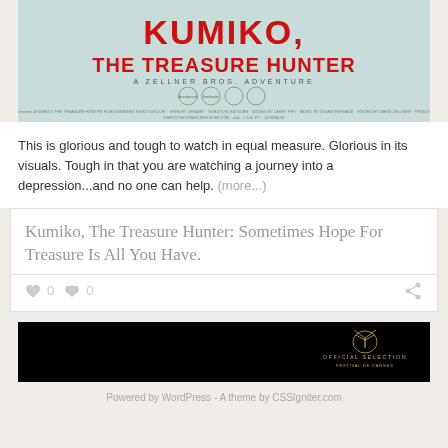[Figure (illustration): Movie poster for Kumiko, The Treasure Hunter - A Zellner Bros. Adventure, showing title text in red on a pale green/teal background with award laurels and credits]
This is glorious and tough to watch in equal measure. Glorious in its visuals. Tough in that you are watching a journey into a depression...and no one can help. (more...)
Kumiko, The Treasure Hunter: Sometimes Hope For Treasure Is All You Have.
0  0
[Figure (screenshot): Black banner image with Official Selection - Festival de Cannes logo/badge on right side in gold]
Powered by WordPress - A theme by CSSIgniter.com